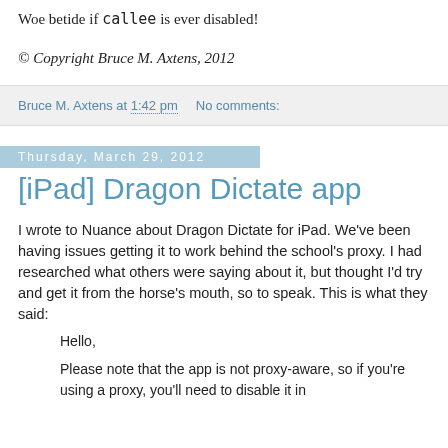Woe betide if callee is ever disabled!
© Copyright Bruce M. Axtens, 2012
Bruce M. Axtens at 1:42 pm   No comments:
Thursday, March 29, 2012
[iPad] Dragon Dictate app
I wrote to Nuance about Dragon Dictate for iPad. We've been having issues getting it to work behind the school's proxy. I had researched what others were saying about it, but thought I'd try and get it from the horse's mouth, so to speak. This is what they said:
Hello,
Please note that the app is not proxy-aware, so if you're using a proxy, you'll need to disable it in order to get traffic through to the app. We hope to...